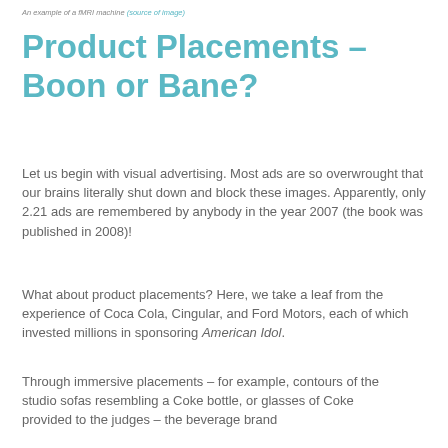An example of a fMRI machine (source of image)
Product Placements – Boon or Bane?
Let us begin with visual advertising. Most ads are so overwrought that our brains literally shut down and block these images. Apparently, only 2.21 ads are remembered by anybody in the year 2007 (the book was published in 2008)!
What about product placements? Here, we take a leaf from the experience of Coca Cola, Cingular, and Ford Motors, each of which invested millions in sponsoring American Idol.
Through immersive placements – for example, contours of the studio sofas resembling a Coke bottle, or glasses of Coke provided to the judges – the beverage brand